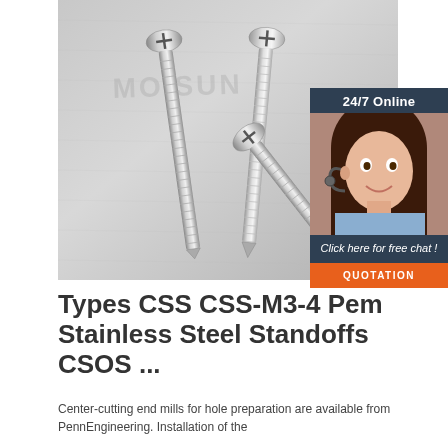[Figure (photo): Photograph of stainless steel screws/self-tapping screws on a gray surface with MONSUN watermark. Three screws shown at angles on a metal surface.]
[Figure (infographic): 24/7 Online chat widget with woman wearing headset, text 'Click here for free chat!' and orange QUOTATION button on dark navy background.]
Types CSS CSS-M3-4 Pem Stainless Steel Standoffs CSOS ...
Center-cutting end mills for hole preparation are available from PennEngineering. Installation of the